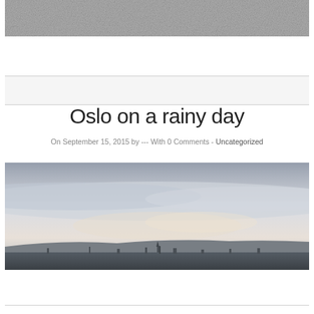[Figure (photo): Grainy texture / noise photo at top of page, partially cropped]
[Figure (other): Advertisement or banner block between two horizontal dividers]
Oslo on a rainy day
On September 15, 2015 by --- With 0 Comments - Uncategorized
[Figure (photo): Panoramic photo of Oslo cityscape on a cloudy rainy day, showing the skyline with low clouds and mist over mountains]